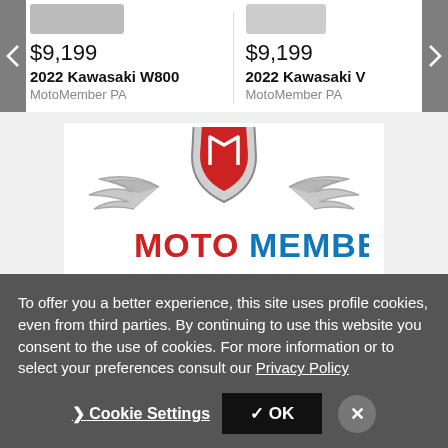$9,199
2022 Kawasaki W800
MotoMember PA
$9,199
2022 Kawasaki V
MotoMember PA
[Figure (logo): MotoMember logo with winged shield emblem in red and silver, with 'MOTO' in red and 'MEMBER' in blue text below]
To offer you a better experience, this site uses profile cookies, even from third parties. By continuing to use this website you consent to the use of cookies. For more information or to select your preferences consult our Privacy Policy
❯ Cookie Settings
✓ OK